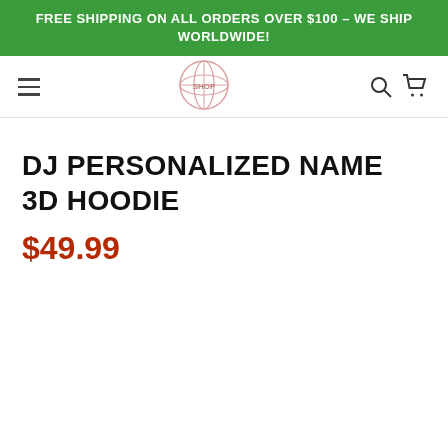FREE SHIPPING ON ALL ORDERS OVER $100 – WE SHIP WORLDWIDE!
[Figure (logo): Globe/world logo icon for the store, circular emblem in light pink/red tones]
DJ PERSONALIZED NAME 3D HOODIE
$49.99